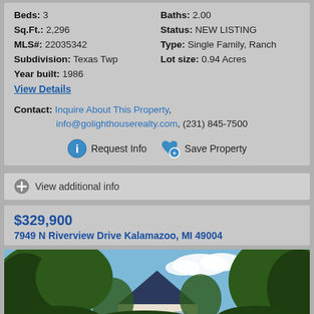Beds: 3 | Baths: 2.00 | Sq.Ft.: 2,296 | Status: NEW LISTING | MLS#: 22035342 | Type: Single Family, Ranch | Subdivision: Texas Twp | Lot size: 0.94 Acres | Year built: 1986
View Details
Contact: Inquire About This Property, info@golighthouserealty.com, (231) 845-7500
Request Info | Save Property
View additional info
$329,900
7949 N Riverview Drive Kalamazoo, MI 49004
[Figure (photo): Exterior photo of a house with a dark blue/grey roof surrounded by trees, blue sky with clouds visible in the background.]